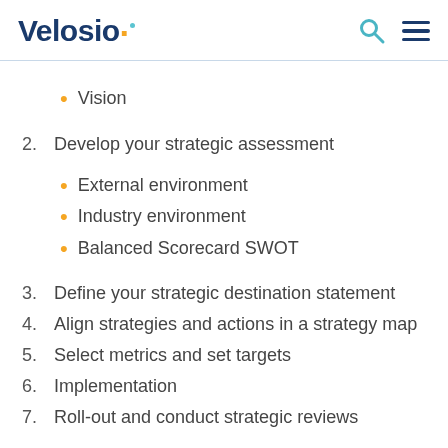Velosio
Vision
2. Develop your strategic assessment
External environment
Industry environment
Balanced Scorecard SWOT
3. Define your strategic destination statement
4. Align strategies and actions in a strategy map
5. Select metrics and set targets
6. Implementation
7. Roll-out and conduct strategic reviews